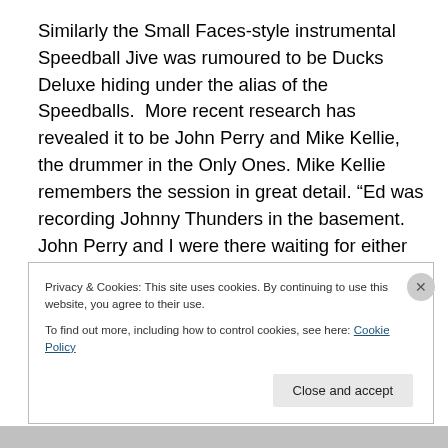Similarly the Small Faces-style instrumental Speedball Jive was rumoured to be Ducks Deluxe hiding under the alias of the Speedballs.  More recent research has revealed it to be John Perry and Mike Kellie, the drummer in the Only Ones. Mike Kellie remembers the session in great detail. “Ed was recording Johnny Thunders in the basement. John Perry and I were there waiting for either Perrett or Thunders to arrive and meanwhile we got a sound and began playing. John Perry “It’s all done on the
Privacy & Cookies: This site uses cookies. By continuing to use this website, you agree to their use.
To find out more, including how to control cookies, see here: Cookie Policy
Close and accept